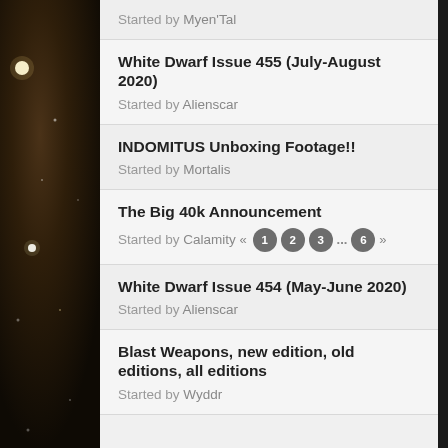Started by Myen'Tal
White Dwarf Issue 455 (July-August 2020)
Started by Alienscar
INDOMITUS Unboxing Footage!!
Started by Mortalis
The Big 40k Announcement
Started by Calamity « 1 2 3 ... 6 »
White Dwarf Issue 454 (May-June 2020)
Started by Alienscar
Blast Weapons, new edition, old editions, all editions
Started by Wyddr